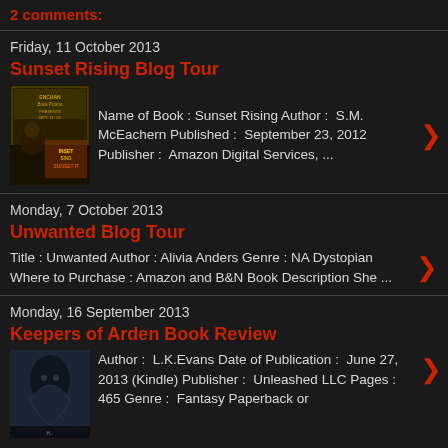2 comments:
Friday, 11 October 2013
Sunset Rising Blog Tour
[Figure (illustration): Book cover for Sunset Rising blog tour promotion]
Name of Book : Sunset Rising Author :  S.M. McEachern Published :  September 23, 2012 Publisher :  Amazon Digital Services, ...
Monday, 7 October 2013
Unwanted Blog Tour
Title : Unwanted Author : Alivia Anders Genre : NA Dystopian Where to Purchase : Amazon and B&N Book Description She ...
Monday, 16 September 2013
Keepers of Arden Book Review
[Figure (illustration): Book cover for Keepers of Arden]
Author :  L.K.Evans Date of Publication :  June 27, 2013 (Kindle) Publisher :  Unleashed LLC Pages :  465 Genre :  Fantasy Paperback or